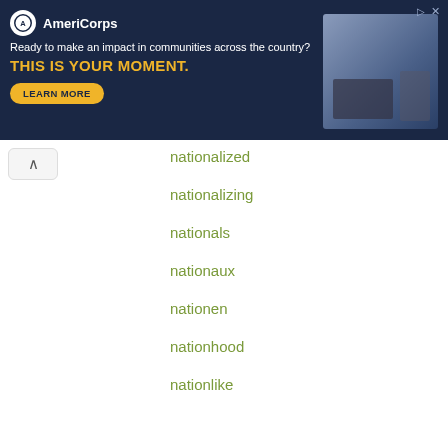[Figure (other): AmeriCorps advertisement banner with dark navy background. Shows logo, tagline 'Ready to make an impact in communities across the country?', headline 'THIS IS YOUR MOMENT.' with a LEARN MORE button, and a photo of students at computers on the right.]
nationalized
nationalizing
nationals
nationaux
nationen
nationhood
nationlike
Alternative searches for nationally:
Search for Definitions for nationally
Search for Antonyms for nationally
Search for Anagrams for nationally